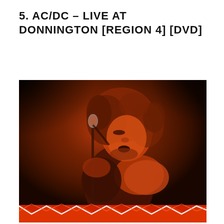5. AC/DC – LIVE AT DONNINGTON [REGION 4] [DVD]
[Figure (photo): Concert photo of a rock musician with wild hair performing on stage, leaning into a microphone, shirtless, with dramatic red/orange stage lighting and dark background. The bottom of the image shows red guitar or set decoration with zigzag/lightning bolt patterns.]